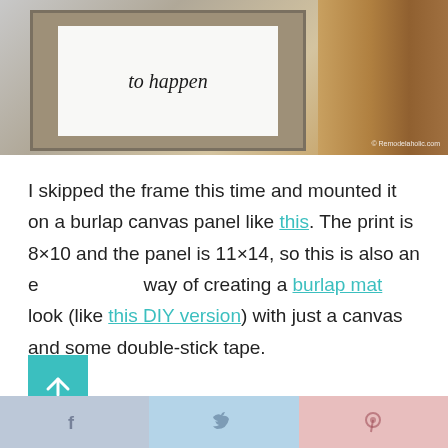[Figure (photo): A framed print mounted on a burlap canvas panel, shown in a wooden or rustic setting. The frame appears tan/gray with a white print inside showing cursive text 'to happen'. A wooden box is visible to the right. Watermark reads '© Remodelaholic.com'.]
I skipped the frame this time and mounted it on a burlap canvas panel like this. The print is 8×10 and the panel is 11×14, so this is also an easy way of creating a burlap mat look (like this DIY version) with just a canvas and some double-stick tape.
[Figure (other): Teal/turquoise scroll-to-top button with upward arrow icon.]
Social sharing bar with Facebook, Twitter, and Pinterest icons